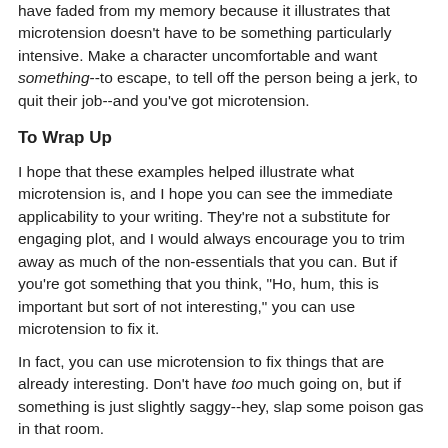have faded from my memory because it illustrates that microtension doesn't have to be something particularly intensive. Make a character uncomfortable and want something--to escape, to tell off the person being a jerk, to quit their job--and you've got microtension.
To Wrap Up
I hope that these examples helped illustrate what microtension is, and I hope you can see the immediate applicability to your writing. They're not a substitute for engaging plot, and I would always encourage you to trim away as much of the non-essentials that you can. But if you're got something that you think, "Ho, hum, this is important but sort of not interesting," you can use microtension to fix it.
In fact, you can use microtension to fix things that are already interesting. Don't have too much going on, but if something is just slightly saggy--hey, slap some poison gas in that room.